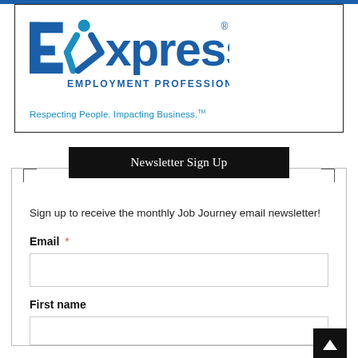[Figure (logo): Express Employment Professionals logo with tagline 'Respecting People. Impacting Business.']
Newsletter Sign Up
Sign up to receive the monthly Job Journey email newsletter!
Email *
First name